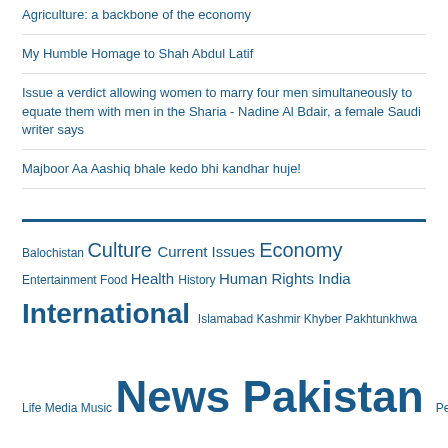Agriculture: a backbone of the economy
My Humble Homage to Shah Abdul Latif
Issue a verdict allowing women to marry four men simultaneously to equate them with men in the Sharia - Nadine Al Bdair, a female Saudi writer says
Majboor Aa Aashiq bhale kedo bhi kandhar huje!
[Figure (infographic): Tag cloud with category links in varying font sizes. Tags include: Balochistan, Culture, Current Issues, Economy, Entertainment, Food, Health, History, Human Rights, India, International, Islamabad, Kashmir, Khyber Pakhtunkhwa, Life, Media, Music, News, Pakistan, Personalities, Politics, Punjab, Random, Religion, Science, Sindh, Sindhi, Uncategorized, Video]